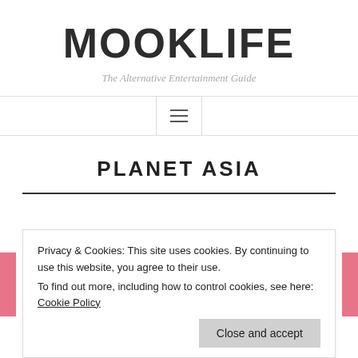MOOKLIFE
The Alternative Entertainment Guide
PLANET ASIA
Privacy & Cookies: This site uses cookies. By continuing to use this website, you agree to their use.
To find out more, including how to control cookies, see here: Cookie Policy
Close and accept